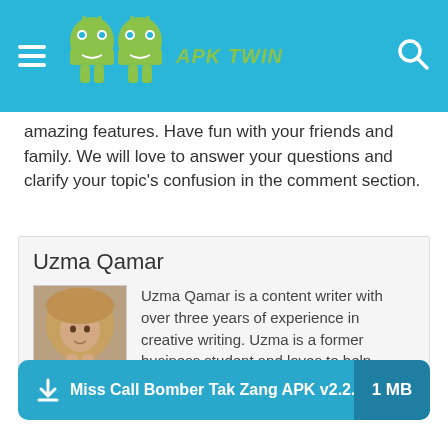APK TWIN
amazing features. Have fun with your friends and family. We will love to answer your questions and clarify your topic's confusion in the comment section.
Uzma Qamar
[Figure (photo): Portrait photo of Uzma Qamar wearing a fur hood]
Uzma Qamar is a content writer with over three years of experience in creative writing. Uzma is a former business student and loves to help people grow businesses.
Miss Call Bomber Tak Zang APK v2.2.1  1 MB